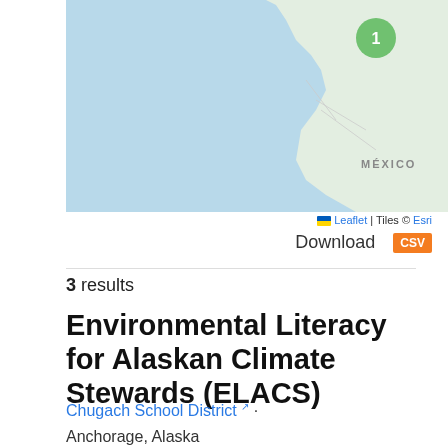[Figure (map): Interactive map showing a geographic region including Mexico and the US West Coast, with a green circle marker labeled '1'. Map credits: Leaflet | Tiles © Esri]
Leaflet | Tiles © Esri
Download CSV
3 results
Environmental Literacy for Alaskan Climate Stewards (ELACS)
Chugach School District · Anchorage, Alaska
Funding: $499,888
Year: 2018
The Environmental Literacy for Alaska Climate Stewards (ELACS)